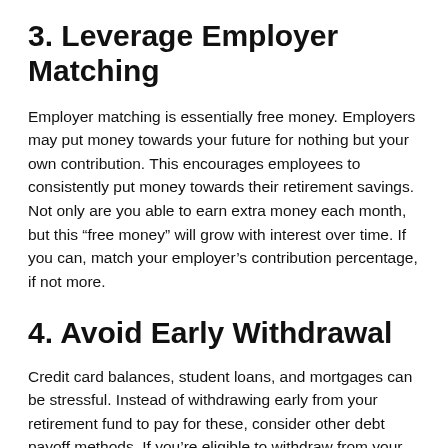3. Leverage Employer Matching
Employer matching is essentially free money. Employers may put money towards your future for nothing but your own contribution. This encourages employees to consistently put money towards their retirement savings. Not only are you able to earn extra money each month, but this “free money” will grow with interest over time. If you can, match your employer’s contribution percentage, if not more.
4. Avoid Early Withdrawal
Credit card balances, student loans, and mortgages can be stressful. Instead of withdrawing early from your retirement fund to pay for these, consider other debt payoff methods. If you’re eligible to withdraw from your retirement early, you may face penalty